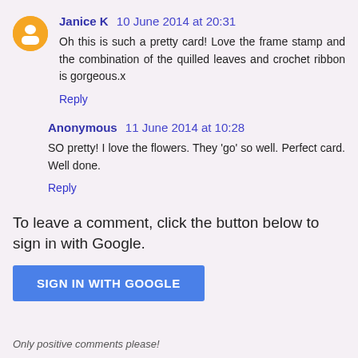Janice K  10 June 2014 at 20:31
Oh this is such a pretty card! Love the frame stamp and the combination of the quilled leaves and crochet ribbon is gorgeous.x
Reply
Anonymous  11 June 2014 at 10:28
SO pretty! I love the flowers. They 'go' so well. Perfect card. Well done.
Reply
To leave a comment, click the button below to sign in with Google.
SIGN IN WITH GOOGLE
Only positive comments please!